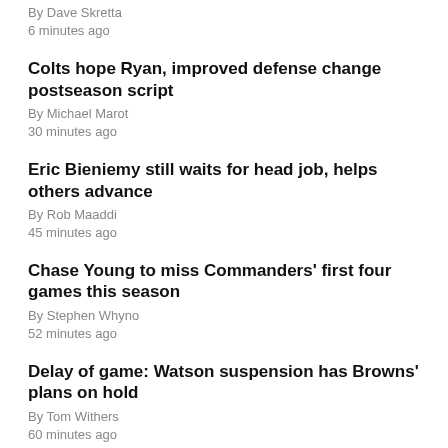By Dave Skretta
6 minutes ago
Colts hope Ryan, improved defense change postseason script
By Michael Marot
30 minutes ago
Eric Bieniemy still waits for head job, helps others advance
By Rob Maaddi
45 minutes ago
Chase Young to miss Commanders' first four games this season
By Stephen Whyno
52 minutes ago
Delay of game: Watson suspension has Browns' plans on hold
By Tom Withers
60 minutes ago